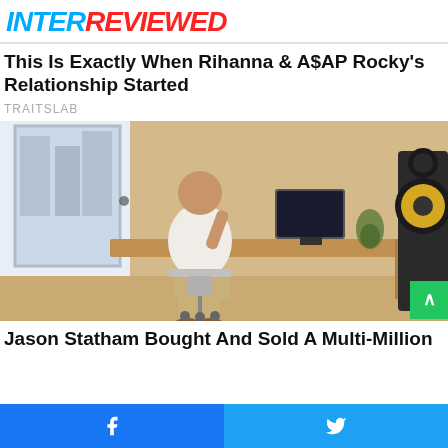INTERREVIEWED
This Is Exactly When Rihanna & A$AP Rocky's Relationship Started
TRAITSLAB
[Figure (photo): A bald man in a white shirt and khaki pants sitting in a modern office chair at a wooden floating desk, with a large speaker on the right and a bright window on the left.]
Jason Statham Bought And Sold A Multi-Million
Facebook share | Twitter share